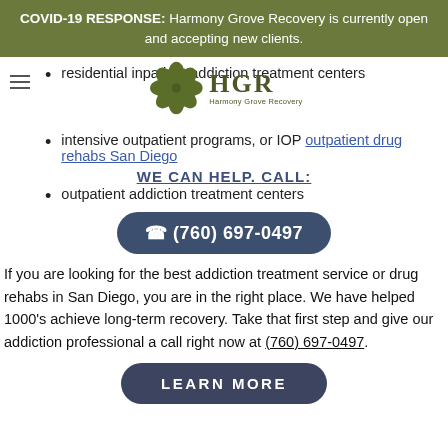COVID-19 RESPONSE: Harmony Grove Recovery is currently open and accepting new clients.
residential inpatient addiction treatment centers
[Figure (logo): Harmony Grove Recovery logo with leaf icon and HGR text]
intensive outpatient programs, or IOP outpatient drug rehabs San Diego
WE CAN HELP. CALL:
outpatient addiction treatment centers
(760) 697-0497
If you are looking for the best addiction treatment service or drug rehabs in San Diego, you are in the right place. We have helped 1000's achieve long-term recovery. Take that first step and give our addiction professional a call right now at (760) 697-0497.
LEARN MORE